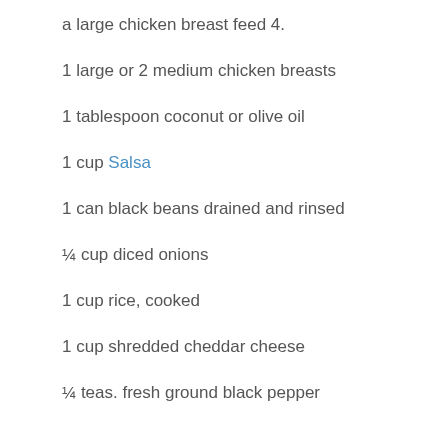a large chicken breast feed 4.
1 large or 2 medium chicken breasts
1 tablespoon coconut or olive oil
1 cup Salsa
1 can black beans drained and rinsed
¼ cup diced onions
1 cup rice, cooked
1 cup shredded cheddar cheese
¼ teas. fresh ground black pepper